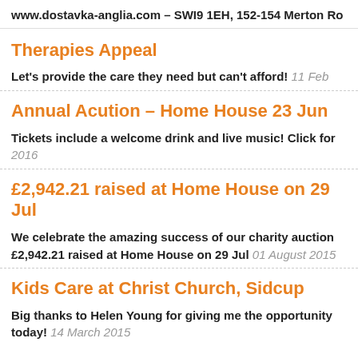www.dostavka-anglia.com – SW19 1EH, 152-154 Merton Ro
Therapies Appeal
Let's provide the care they need but can't afford! 11 Feb
Annual Acution – Home House 23 Jun
Tickets include a welcome drink and live music! Click for 2016
£2,942.21 raised at Home House on 29 Jul
We celebrate the amazing success of our charity auction £2,942.21 raised at Home House on 29 Jul 01 August 2015
Kids Care at Christ Church, Sidcup
Big thanks to Helen Young for giving me the opportunity today! 14 March 2015